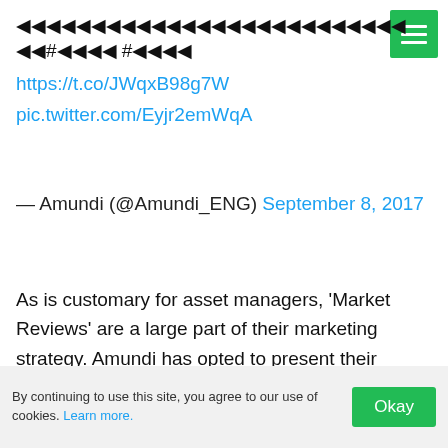[Unicode symbols/emoji/garbled text] #[symbols] #[symbols] https://t.co/JWqxB98g7W pic.twitter.com/Eyjr2emWqA
— Amundi (@Amundi_ENG) September 8, 2017
As is customary for asset managers, 'Market Reviews' are a large part of their marketing strategy. Amundi has opted to present their September round-up of global economic news in a discussion format on YouTube. The main advantage of this is that the videos can exist not just on the YouTube channel but can also be embedded in tweets for instant sharing.
By continuing to use this site, you agree to our use of cookies. Learn more.